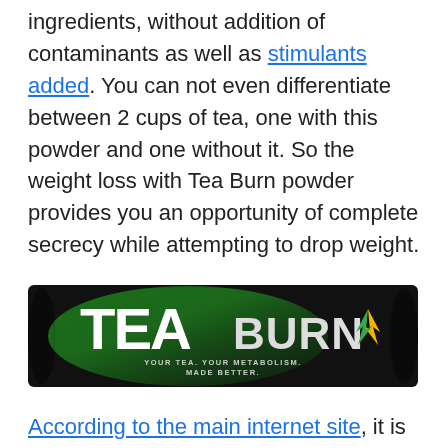ingredients, without addition of contaminants as well as stimulants added. You can not even differentiate between 2 cups of tea, one with this powder and one without it. So the weight loss with Tea Burn powder provides you an opportunity of complete secrecy while attempting to drop weight.
[Figure (photo): Tea Burn product packet — a long slim black sachet with green flame graphic and the text 'TEA BURN — YOUR TEA. YOUR METABOLISM. MADE BETTER.' in white and green lettering.]
According to the main internet site, it is the world's top and also best exclusive mix that is currently pending a license. It triggers metabolic rate and also makes the body lose weight on its own. This